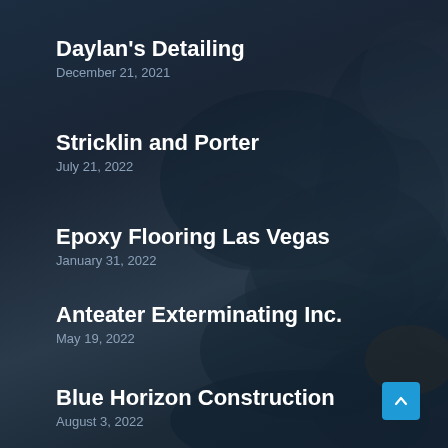Daylan's Detailing
December 21, 2021
Stricklin and Porter
July 21, 2022
Epoxy Flooring Las Vegas
January 31, 2022
Anteater Exterminating Inc.
May 19, 2022
Blue Horizon Construction
August 3, 2022